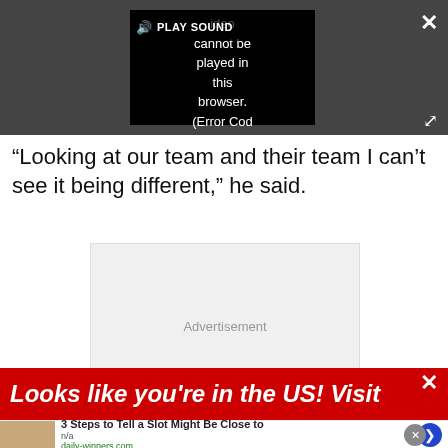[Figure (screenshot): Video player overlay on dark gray background showing 'PLAY SOUND' bar and error message: 'Video cannot be played in this browser. (Error Cod' with close (X) and expand buttons]
“Looking at our team and their team I can’t see it being different,” he said.
[Figure (other): Advertisement placeholder box with light gray background and text 'Advertisement']
[Figure (other): Red banner with italic white text: 'Looks like you're in the US! Visit' with close X button]
[Figure (other): Bottom ad strip: thumbnail image, bold title '3 Steps to Tell a Slot Might Be Close to', 'n/a', 'daily-winners.com', blue arrow button]